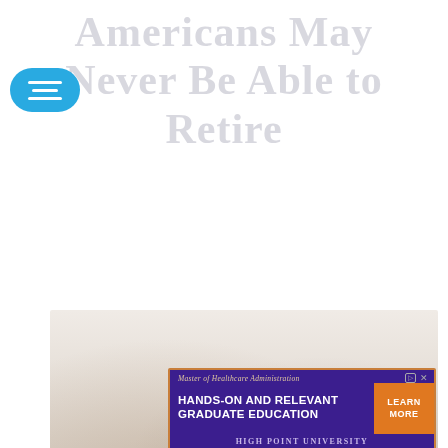Americans May Never Be Able to Retire
[Figure (photo): Faded/washed-out photograph of people, likely depicting older Americans or retirees, very light and desaturated tones]
[Figure (screenshot): Advertisement banner for High Point University Master of Healthcare Administration program. Text reads: 'Master of Healthcare Administration', 'HANDS-ON AND RELEVANT GRADUATE EDUCATION', 'LEARN MORE', 'HIGH POINT UNIVERSITY'. Purple background with orange border and orange call-to-action button.]